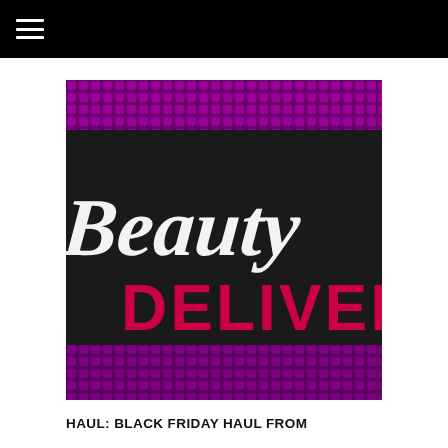≡
[Figure (photo): Close-up photograph of a black box with white italic script reading 'Beauty' and red block letters reading 'DELIVER' partially visible, set against a purple metallic sequined background.]
HAUL: BLACK FRIDAY HAUL FROM